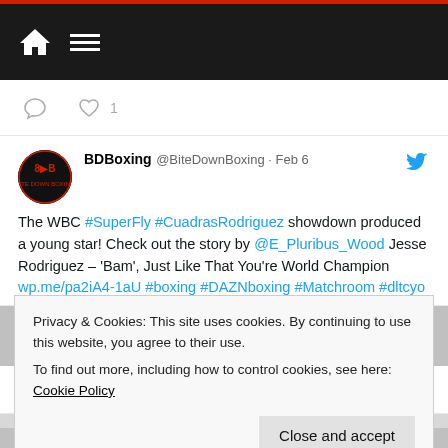Navigation bar with home and menu icons
[Figure (screenshot): Tweet icons row (comment and heart with count 1)]
BDBoxing @BiteDownBoxing · Feb 6
The WBC #SuperFly #CuadrasRodriguez showdown produced a young star! Check out the story by @E_Pluribus_Wood Jesse Rodriguez – 'Bam', Just Like That You're World Champion wp.me/pa2iA4-1aU #boxing #DAZNboxing #Matchroom #dltcyo
[Figure (screenshot): Tweet action icons (comment and heart)]
Privacy & Cookies: This site uses cookies. By continuing to use this website, you agree to their use.
To find out more, including how to control cookies, see here: Cookie Policy
Close and accept